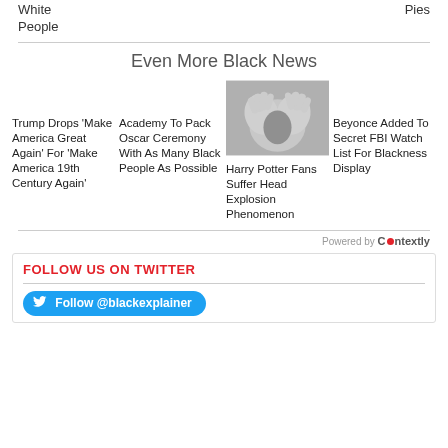White People
Pies
Even More Black News
Trump Drops 'Make America Great Again' For 'Make America 19th Century Again'
Academy To Pack Oscar Ceremony With As Many Black People As Possible
[Figure (photo): Black and white photo of a person with hands covering face]
Harry Potter Fans Suffer Head Explosion Phenomenon
Beyonce Added To Secret FBI Watch List For Blackness Display
Powered by Contextly
FOLLOW US ON TWITTER
Follow @blackexplainer